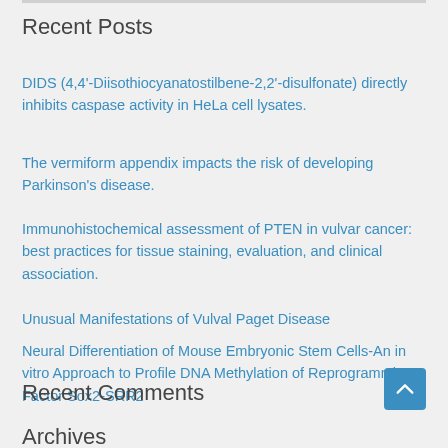Recent Posts
DIDS (4,4'-Diisothiocyanatostilbene-2,2'-disulfonate) directly inhibits caspase activity in HeLa cell lysates.
The vermiform appendix impacts the risk of developing Parkinson's disease.
Immunohistochemical assessment of PTEN in vulvar cancer: best practices for tissue staining, evaluation, and clinical association.
Unusual Manifestations of Vulval Paget Disease
Neural Differentiation of Mouse Embryonic Stem Cells-An in vitro Approach to Profile DNA Methylation of Reprogramming Factor Sox2-SRR2
Recent Comments
Archives